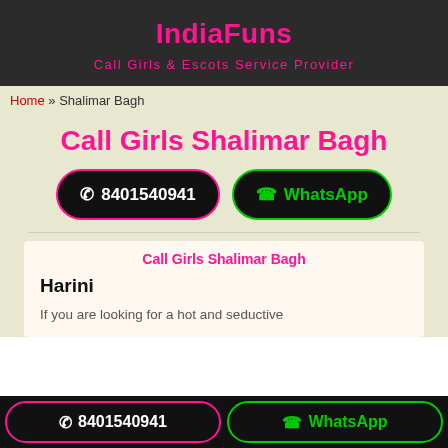IndiaFuns
Call Girls & Escots Service Provider
Home » Shalimar Bagh
Call Girls Shalimar Bagh
☎ 8401540941
WhatsApp
Call Girls Shalimar Bagh
Harini
If you are looking for a hot and seductive
☎ 8401540941  WhatsApp